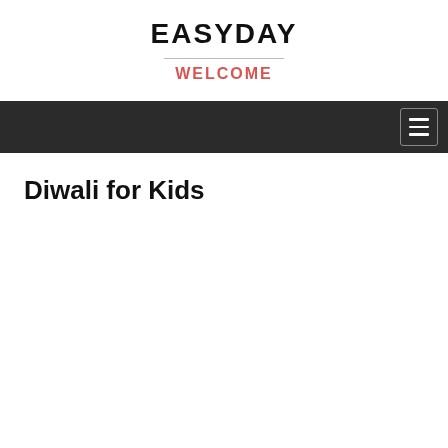EASYDAY
WELCOME
Diwali for Kids